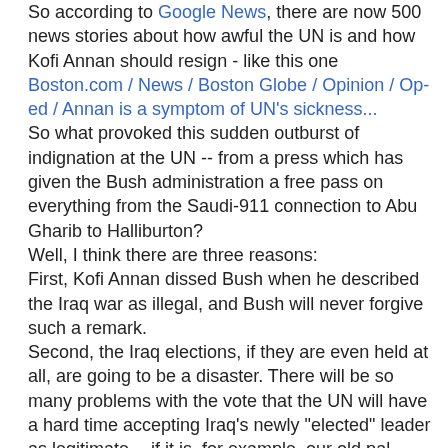So according to Google News, there are now 500 news stories about how awful the UN is and how Kofi Annan should resign - like this one Boston.com / News / Boston Globe / Opinion / Op-ed / Annan is a symptom of UN's sickness...
So what provoked this sudden outburst of indignation at the UN -- from a press which has given the Bush administration a free pass on everything from the Saudi-911 connection to Abu Gharib to Halliburton?
Well, I think there are three reasons:
First, Kofi Annan dissed Bush when he described the Iraq war as illegal, and Bush will never forgive such a remark.
Second, the Iraq elections, if they are even held at all, are going to be a disaster. There will be so many problems with the vote that the UN will have a hard time accepting Iraq's newly "elected" leader as legitimate -- if it is, for example, our old pal Chalabis. So trashing the UN now will reduce its credibility in questioning of the Iraq "vote".
Third, and likely most important, the Bush administration is gearing up for war with Iran in 2005 or 2006. The Security Council is so far refusing to get suckered in to any sanction resolutions which the US could later use as justification for